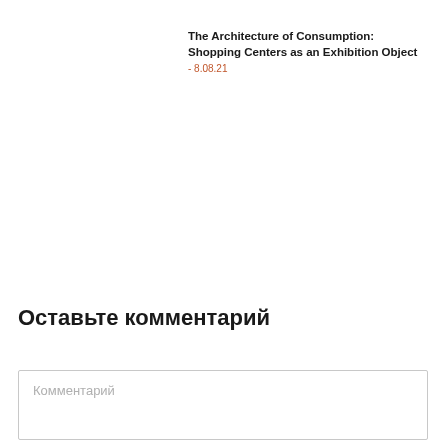The Architecture of Consumption: Shopping Centers as an Exhibition Object - 8.08.21
Оставьте комментарий
Комментарий